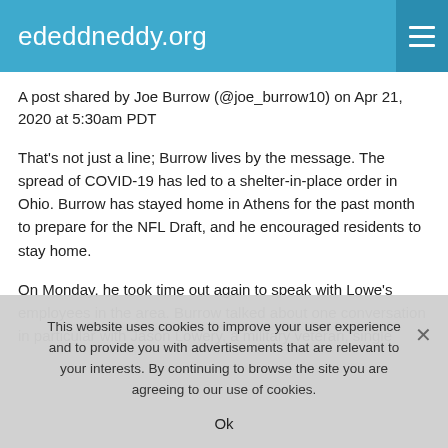ededdneddy.org
A post shared by Joe Burrow (@joe_burrow10) on Apr 21, 2020 at 5:30am PDT
That's not just a line; Burrow lives by the message. The spread of COVID-19 has led to a shelter-in-place order in Ohio. Burrow has stayed home in Athens for the past month to prepare for the NFL Draft, and he encouraged residents to stay home.
On Monday, he took time out again to speak with Lowe's employees in the area. Burrow talked about one conversation in particular with Jason Lowery, a military veteran, single
This website uses cookies to improve your user experience and to provide you with advertisements that are relevant to your interests. By continuing to browse the site you are agreeing to our use of cookies.
Ok